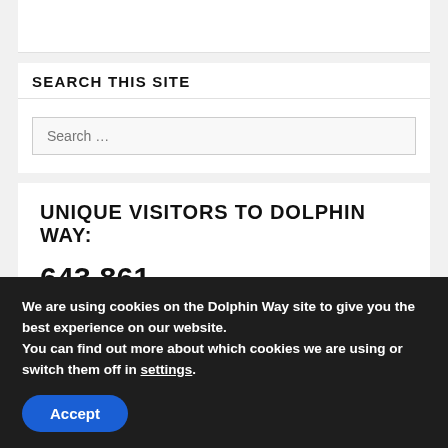SEARCH THIS SITE
Search …
UNIQUE VISITORS TO DOLPHIN WAY:
643,861
We are using cookies on the Dolphin Way site to give you the best experience on our website.
You can find out more about which cookies we are using or switch them off in settings.
Accept